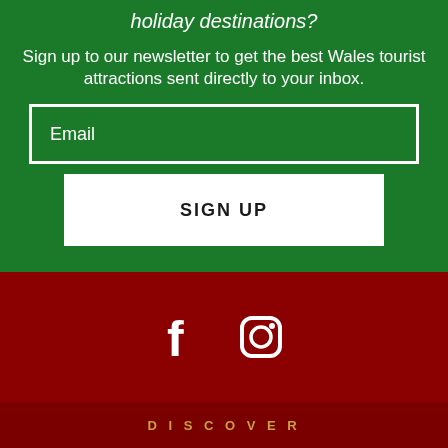holiday destinations?
Sign up to our newsletter to get the best Wales tourist attractions sent directly to your inbox.
Email
SIGN UP
[Figure (other): Facebook and Instagram social media icons in white on dark red background]
DISCOVER
[Figure (infographic): Advertisement banner: We believe the global pollution crisis can be solved. In a world where pollution doesn't stop at borders, we can all be part of the solution. JOIN US. Pure Earth logo.]